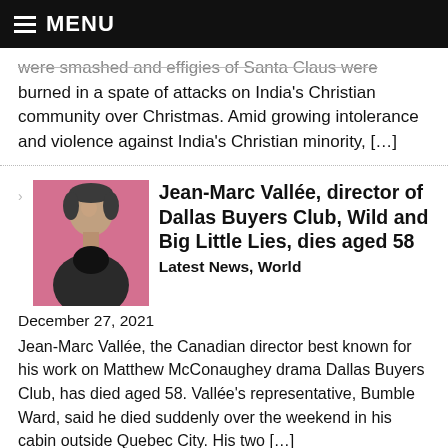MENU
were smashed and effigies of Santa Claus were burned in a spate of attacks on India’s Christian community over Christmas. Amid growing intolerance and violence against India’s Christian minority, […]
[Figure (photo): Headshot of Jean-Marc Vallée against a pink background]
Jean-Marc Vallée, director of Dallas Buyers Club, Wild and Big Little Lies, dies aged 58
Latest News, World
December 27, 2021
Jean-Marc Vallée, the Canadian director best known for his work on Matthew McConaughey drama Dallas Buyers Club, has died aged 58. Vallée’s representative, Bumble Ward, said he died suddenly over the weekend in his cabin outside Quebec City. His two […]